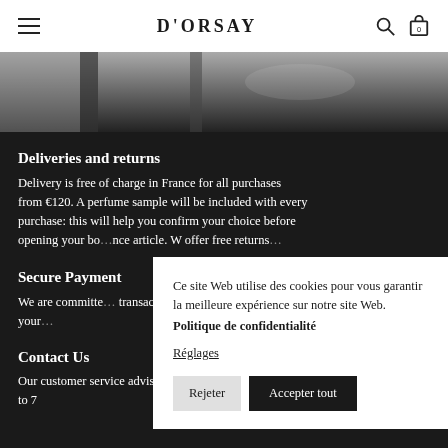D'ORSAY
[Figure (photo): Grayscale photo of a glass door or window fixture, partial view]
Deliveries and returns
Delivery is free of charge in France for all purchases from €120. A perfume sample will be included with every purchase: this will help you confirm your choice before opening your bo... offer free returns...
Secure Payment
We are committe... transactions are s... ensure that your...
Contact Us
Our customer service advisors are available from 11 am to 7
Ce site Web utilise des cookies pour vous garantir la meilleure expérience sur notre site Web. Politique de confidentialité
Réglages
Rejeter  Accepter tout